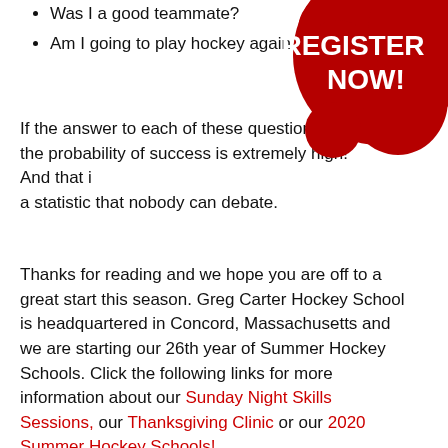Was I a good teammate?
Am I going to play hockey again ne…
[Figure (illustration): Red blob/splatter shape in the top-right corner with white bold text reading REGISTER NOW!]
If the answer to each of these questions is yes, the probability of success is extremely high! And that is a statistic that nobody can debate.
Thanks for reading and we hope you are off to a great start this season. Greg Carter Hockey School is headquartered in Concord, Massachusetts and we are starting our 26th year of Summer Hockey Schools. Click the following links for more information about our Sunday Night Skills Sessions, our Thanksgiving Clinic or our 2020 Summer Hockey Schools!